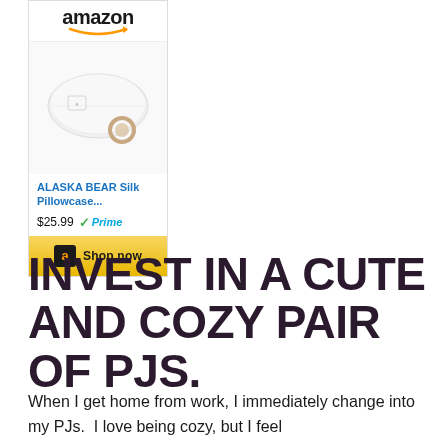[Figure (screenshot): Amazon product widget showing ALASKA BEAR Silk Pillowcase priced at $25.99 with Prime badge and Shop now button]
INVEST IN A CUTE AND COZY PAIR OF PJS.
When I get home from work, I immediately change into my PJs.  I love being cozy, but I feel